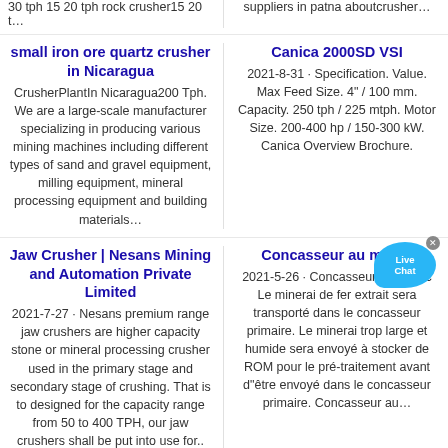30 tph 15 20 tph rock crusher15 20 t…
suppliers in patna aboutcrusher…
small iron ore quartz crusher in Nicaragua
CrusherPlantIn Nicaragua200 Tph. We are a large-scale manufacturer specializing in producing various mining machines including different types of sand and gravel equipment, milling equipment, mineral processing equipment and building materials…
Canica 2000SD VSI
2021-8-31 · Specification. Value. Max Feed Size. 4" / 100 mm. Capacity. 250 tph / 225 mtph. Motor Size. 200-400 hp / 150-300 kW. Canica Overview Brochure.
[Figure (illustration): Live Chat button with blue speech bubble and close X icon]
Jaw Crusher | Nesans Mining and Automation Private Limited
2021-7-27 · Nesans premium range jaw crushers are higher capacity stone or mineral processing crusher used in the primary stage and secondary stage of crushing. That is to designed for the capacity range from 50 to 400 TPH, our jaw crushers shall be put into use for..
Concasseur au maroc
2021-5-26 · Concasseur au maroc Le minerai de fer extrait sera transporté dans le concasseur primaire. Le minerai trop large et humide sera envoyé à stocker de ROM pour le pré-traitement avant d"être envoyé dans le concasseur primaire. Concasseur au…